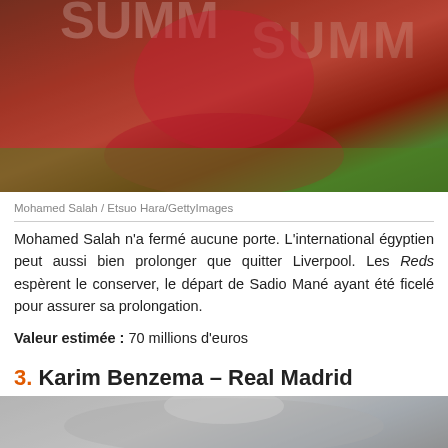[Figure (photo): Mohamed Salah sitting on the grass in a red Liverpool kit during a Champions League match, with a green advertising board behind him.]
Mohamed Salah / Etsuo Hara/GettyImages
Mohamed Salah n'a fermé aucune porte. L'international égyptien peut aussi bien prolonger que quitter Liverpool. Les Reds espèrent le conserver, le départ de Sadio Mané ayant été ficelé pour assurer sa prolongation.
Valeur estimée : 70 millions d'euros
3. Karim Benzema – Real Madrid
[Figure (photo): Karim Benzema in a Real Madrid white kit, partial view at bottom of page.]